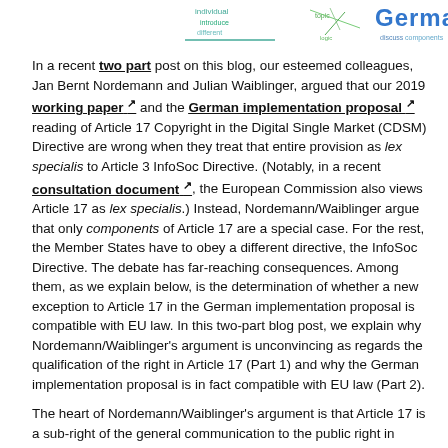[Figure (illustration): Three word cloud / tag cloud images at top of page showing terms like 'individual', 'introduce', 'different', 'German', 'discuss', 'components']
In a recent two part post on this blog, our esteemed colleagues, Jan Bernt Nordemann and Julian Waiblinger, argued that our 2019 working paper [external link] and the German implementation proposal [external link] reading of Article 17 Copyright in the Digital Single Market (CDSM) Directive are wrong when they treat that entire provision as lex specialis to Article 3 InfoSoc Directive. (Notably, in a recent consultation document [external link], the European Commission also views Article 17 as lex specialis.) Instead, Nordemann/Waiblinger argue that only components of Article 17 are a special case. For the rest, the Member States have to obey a different directive, the InfoSoc Directive. The debate has far-reaching consequences. Among them, as we explain below, is the determination of whether a new exception to Article 17 in the German implementation proposal is compatible with EU law. In this two-part blog post, we explain why Nordemann/Waiblinger's argument is unconvincing as regards the qualification of the right in Article 17 (Part 1) and why the German implementation proposal is in fact compatible with EU law (Part 2).
The heart of Nordemann/Waiblinger's argument is that Article 17 is a sub-right of the general communication to the public right in Article 3 InfoSoc Directive. They recognize that "the legal liability of online content sharing service providers is..."